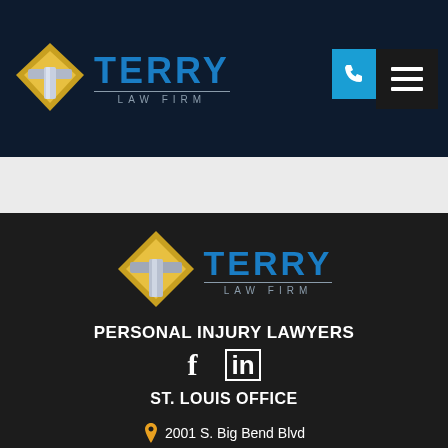[Figure (logo): Terry Law Firm logo in dark blue navigation header with diamond T emblem in gold/silver]
[Figure (logo): Terry Law Firm logo on dark background footer section]
PERSONAL INJURY LAWYERS
[Figure (infographic): Facebook and LinkedIn social media icons]
ST. LOUIS OFFICE
2001 S. Big Bend Blvd #209